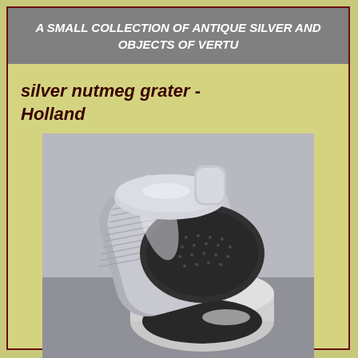A SMALL COLLECTION OF ANTIQUE SILVER AND OBJECTS OF VERTU
silver nutmeg grater - Holland
[Figure (photo): Photograph of an open silver nutmeg grater from Holland, showing the cylindrical silver body with threaded screw-top lid open and the oval grater plate inside, photographed on a light grey background.]